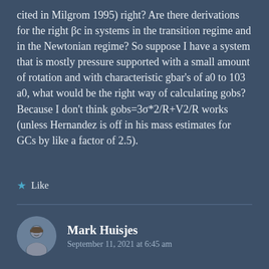cited in Milgrom 1995) right? Are there derivations for the right βc in systems in the transition regime and in the Newtonian regime? So suppose I have a system that is mostly pressure supported with a small amount of rotation and with characteristic gbar's of a0 to 103 a0, what would be the right way of calculating gobs? Because I don't think gobs=3σ*2/R+V2/R works (unless Hernandez is off in his mass estimates for GCs by like a factor of 2.5).
Like
Mark Huisjes
September 11, 2021 at 6:45 am